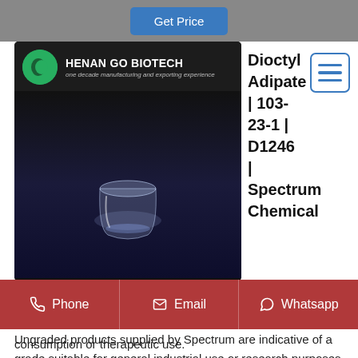[Figure (screenshot): Top grey bar with 'Get Price' button in blue]
[Figure (logo): Henan Go Biotech logo with green circle icon, company name and tagline 'one decade manufacturing and exporting experience']
[Figure (photo): Product photo of a transparent glass/crystal container on dark blue background]
Dioctyl Adipate | 103-23-1 | D1246 | Spectrum Chemical
Dioctyl Adipate is a diester which is used as a plasticizer. Ungraded products supplied by Spectrum are indicative of a grade suitable for general industrial use or research purposes.
consumption or therapeutic use.
Phone  Email  Whatsapp